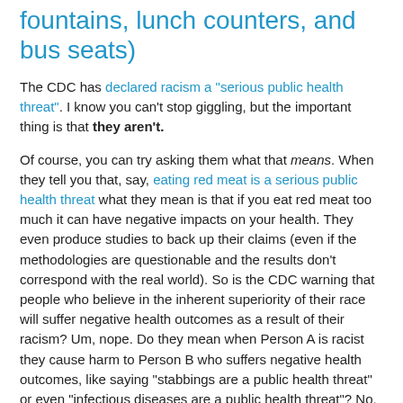fountains, lunch counters, and bus seats)
The CDC has declared racism a "serious public health threat". I know you can't stop giggling, but the important thing is that they aren't.
Of course, you can try asking them what that means. When they tell you that, say, eating red meat is a serious public health threat what they mean is that if you eat red meat too much it can have negative impacts on your health. They even produce studies to back up their claims (even if the methodologies are questionable and the results don't correspond with the real world). So is the CDC warning that people who believe in the inherent superiority of their race will suffer negative health outcomes as a result of their racism? Um, nope. Do they mean when Person A is racist they cause harm to Person B who suffers negative health outcomes, like saying "stabbings are a public health threat" or even "infectious diseases are a public health threat"? No, not that either. So they mean that when Person A is racist it makes Person B feel bad and they suffer negative health